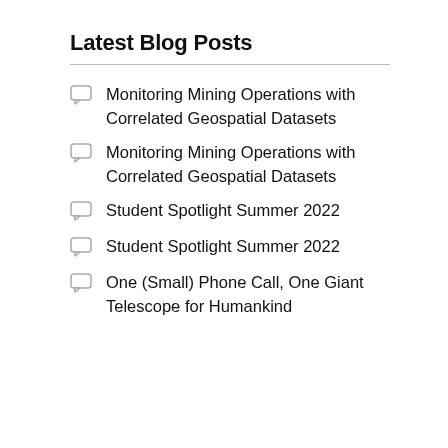Latest Blog Posts
Monitoring Mining Operations with Correlated Geospatial Datasets
Monitoring Mining Operations with Correlated Geospatial Datasets
Student Spotlight Summer 2022
Student Spotlight Summer 2022
One (Small) Phone Call, One Giant Telescope for Humankind